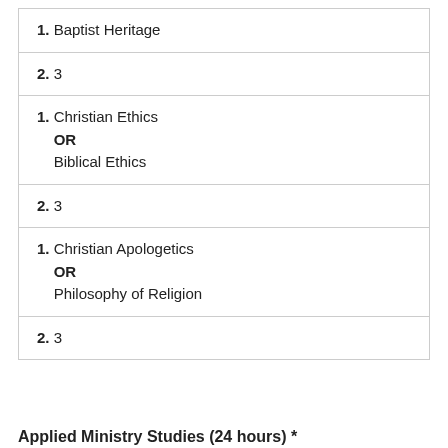1. Baptist Heritage
2. 3
1. Christian Ethics OR Biblical Ethics
2. 3
1. Christian Apologetics OR Philosophy of Religion
2. 3
Applied Ministry Studies (24 hours) *